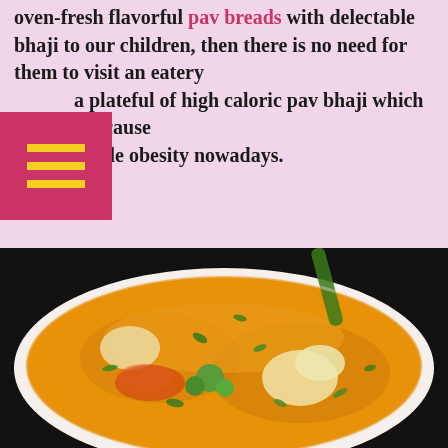oven-fresh flavorful pav breads with delectable bhaji to our children, then there is no need for them to visit an eatery a plateful of high caloric pav bhaji which is a major cause venile obesity nowadays.
Continue reading...
[Figure (photo): A bowl of bhaji curry with vegetables including cauliflower, green peas, capsicum, and green chillies in a thick yellow-orange sauce, garnished with chopped coriander, served in a white bowl on a dark background.]